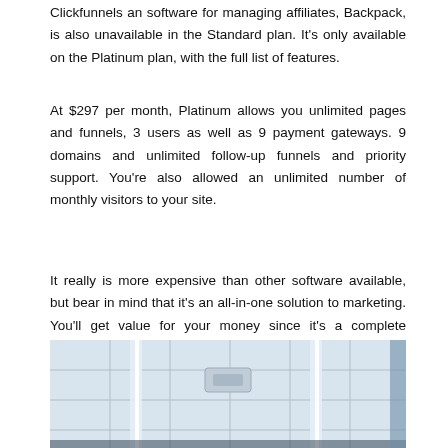Clickfunnels an software for managing affiliates, Backpack, is also unavailable in the Standard plan. It's only available on the Platinum plan, with the full list of features.
At $297 per month, Platinum allows you unlimited pages and funnels, 3 users as well as 9 payment gateways. 9 domains and unlimited follow-up funnels and priority support. You're also allowed an unlimited number of monthly visitors to your site.
It really is more expensive than other software available, but bear in mind that it's an all-in-one solution to marketing. You'll get value for your money since it's a complete marketing solution. The funnels are also proven and tested, so you're sure that they'll be successful for your business.
[Figure (photo): Interior ceiling photo showing a drop ceiling with fluorescent lighting panels and linear LED strips, taken from below looking up.]